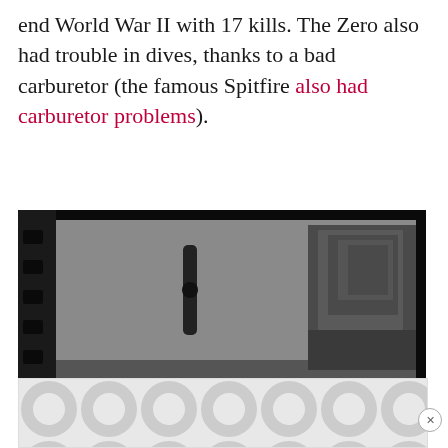end World War II with 17 kills. The Zero also had trouble in dives, thanks to a bad carburetor (the famous Spitfire also had carburetor problems).
[Figure (photo): Black and white photograph of a group of WWII pilots or aircrew posing together on or near an aircraft on a carrier deck. A film negative strip border is visible on the left side with text '7B-9134'. The sailors/pilots are smiling and crowding together, with aircraft propeller and carrier superstructure visible in the background.]